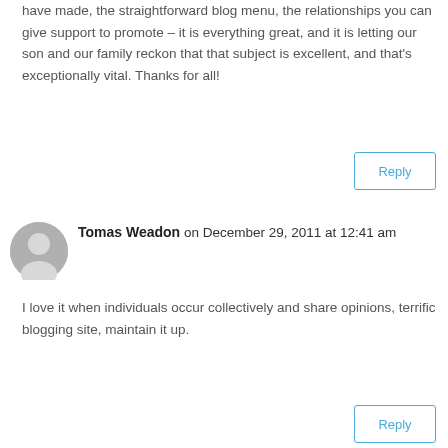have made, the straightforward blog menu, the relationships you can give support to promote – it is everything great, and it is letting our son and our family reckon that that subject is excellent, and that's exceptionally vital. Thanks for all!
Reply
Tomas Weadon on December 29, 2011 at 12:41 am
I love it when individuals occur collectively and share opinions, terrific blogging site, maintain it up.
Reply